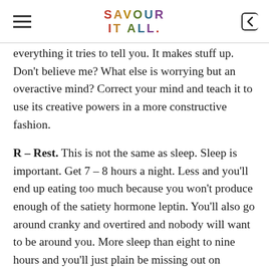SAVOUR IT ALL.
everything it tries to tell you. It makes stuff up. Don't believe me? What else is worrying but an overactive mind? Correct your mind and teach it to use its creative powers in a more constructive fashion.
R – Rest. This is not the same as sleep. Sleep is important. Get 7 – 8 hours a night. Less and you'll end up eating too much because you won't produce enough of the satiety hormone leptin. You'll also go around cranky and overtired and nobody will want to be around you. More sleep than eight to nine hours and you'll just plain be missing out on